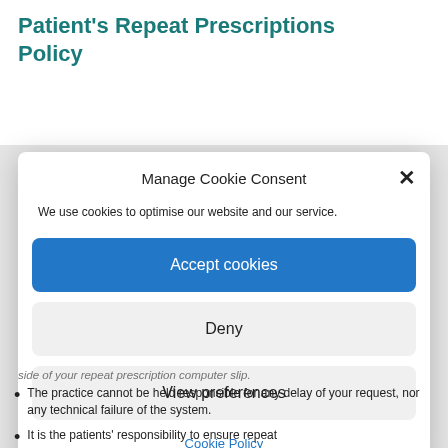Patient's Repeat Prescriptions Policy
Manage Cookie Consent
We use cookies to optimise our website and our service.
Accept cookies
Deny
View preferences
Cookie Policy
side of your repeat prescription computer slip.
The practice cannot be held responsible for any delay of your request, nor any technical failure of the system.
It is the patients' responsibility to ensure repeat